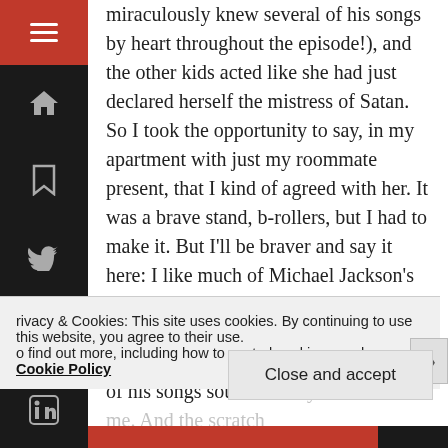[Figure (other): Dark sidebar navigation with hamburger menu (red background), home icon, bookmark icon, Twitter bird icon, Instagram icon, LinkedIn icon]
miraculously knew several of his songs by heart throughout the episode!), and the other kids acted like she had just declared herself the mistress of Satan. So I took the opportunity to say, in my apartment with just my roommate present, that I kind of agreed with her. It was a brave stand, b-rollers, but I had to make it. But I'll be braver and say it here: I like much of Michael Jackson's music, he owns several spots on my iPod's '80s playlist, I admit he's iconic, he was an electric performer, and most of his songs sound exactly the same to me. And the scratch...
Privacy & Cookies: This site uses cookies. By continuing to use this website, you agree to their use. To find out more, including how to control cookies, see here: Cookie Policy